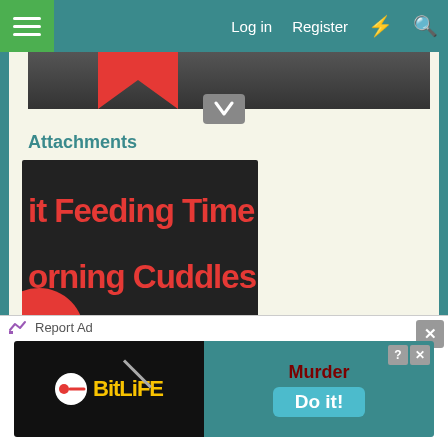Log in | Register
[Figure (screenshot): Partial screenshot showing a forum post with an attachment image labeled 'Untitled.jpg' showing text 'it Feeding Time' and 'orning Cuddles' with a person lying down and a red circle graphic]
Attachments
Untitled.jpg
odyssey~ and Niomi
[Figure (screenshot): Advertisement banner for BitLife mobile game showing 'Murder Do it!' text on teal background with BitLife logo on black background]